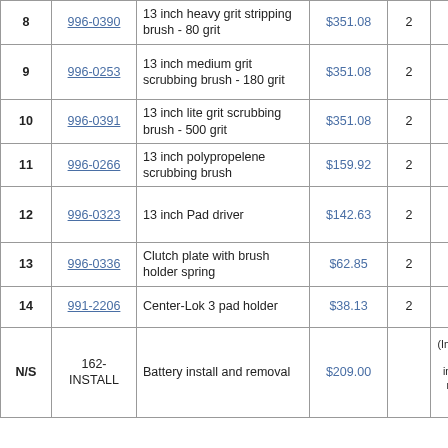| # | SKU | Description | Price | Qty | Notes | Shipping |
| --- | --- | --- | --- | --- | --- | --- |
| 8 | 996-0390 | 13 inch heavy grit stripping brush - 80 grit | $351.08 | 2 |  | ship... 18 d... |
| 9 | 996-0253 | 13 inch medium grit scrubbing brush - 180 grit | $351.08 | 2 |  | usu... ship... 18 d... |
| 10 | 996-0391 | 13 inch lite grit scrubbing brush - 500 grit | $351.08 | 2 |  | ship... sam... |
| 11 | 996-0266 | 13 inch polypropelene scrubbing brush | $159.92 | 2 |  | ship... sam... |
| 12 | 996-0323 | 13 inch Pad driver | $142.63 | 2 |  | usu... ship... 18 d... |
| 13 | 996-0336 | Clutch plate with brush holder spring | $62.85 | 2 |  | ship... sam... |
| 14 | 991-2206 | Center-Lok 3 pad holder | $38.13 | 2 |  | ship... sam... |
| N/S | 162-INSTALL | Battery install and removal | $209.00 |  | (Includes delivery, professional installation, and removal of old batteries) | usu... ship... day... |